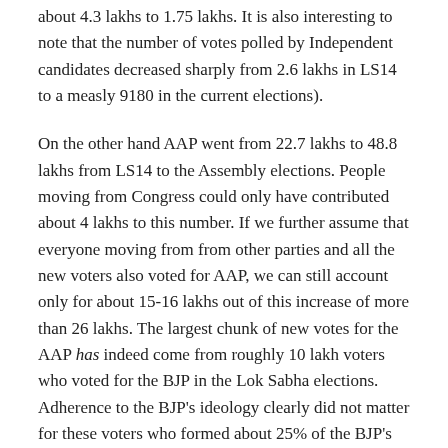about 4.3 lakhs to 1.75 lakhs. It is also interesting to note that the number of votes polled by Independent candidates decreased sharply from 2.6 lakhs in LS14 to a measly 9180 in the current elections).
On the other hand AAP went from 22.7 lakhs to 48.8 lakhs from LS14 to the Assembly elections. People moving from Congress could only have contributed about 4 lakhs to this number. If we further assume that everyone moving from from other parties and all the new voters also voted for AAP, we can still account only for about 15-16 lakhs out of this increase of more than 26 lakhs. The largest chunk of new votes for the AAP has indeed come from roughly 10 lakh voters who voted for the BJP in the Lok Sabha elections. Adherence to the BJP's ideology clearly did not matter for these voters who formed about 25% of the BJP's total vote in Delhi in LS14.
Like